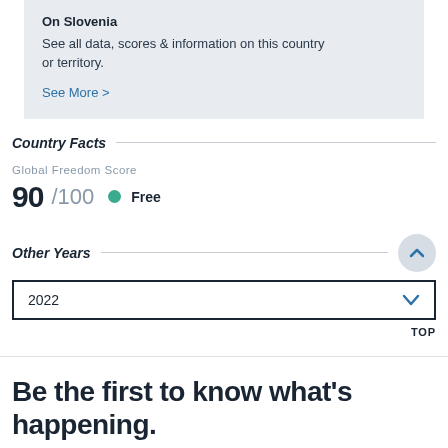On Slovenia
See all data, scores & information on this country or territory.
See More >
Country Facts
Global Freedom Score
90/100 Free
Other Years
2022
TOP
Be the first to know what’s happening.